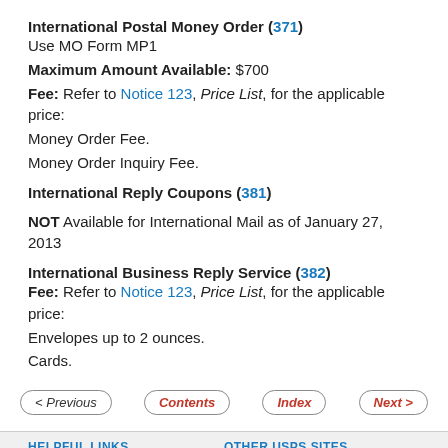International Postal Money Order (371)
Use MO Form MP1
Maximum Amount Available: $700
Fee: Refer to Notice 123, Price List, for the applicable price:
Money Order Fee.
Money Order Inquiry Fee.
International Reply Coupons (381)
NOT Available for International Mail as of January 27, 2013
International Business Reply Service (382)
Fee: Refer to Notice 123, Price List, for the applicable price:
Envelopes up to 2 ounces.
Cards.
< Previous  Contents  Index  Next >
HELPFUL LINKS
Contact Us
OTHER USPS SITES
Business Customer Gateway